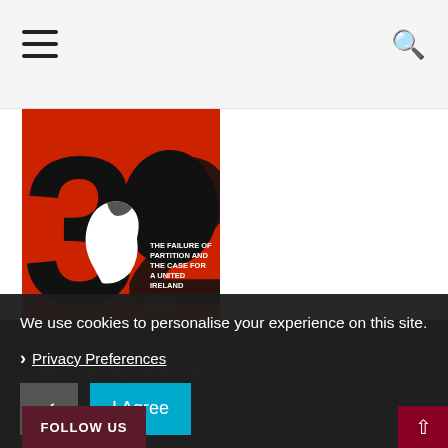Navigation bar with hamburger menu and search icon
[Figure (illustration): Book cover of '32: The Failure of Partition and the Case for a United Ireland by Kieran Allen'. Red background with large black number '32', silhouette of a person's head, and a map of Ireland in white/black.]
Partition and the Case for a United Ireland by Kieran Allen
We use cookies to personalise your experience on this site.
Privacy Preferences
I Agree
FOLLOW US